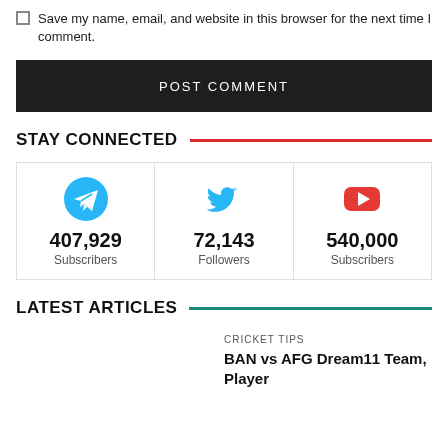Save my name, email, and website in this browser for the next time I comment.
POST COMMENT
STAY CONNECTED
[Figure (infographic): Three social media cards: Telegram (407,929 Subscribers), Twitter (72,143 Followers), YouTube (540,000 Subscribers)]
LATEST ARTICLES
CRICKET TIPS
BAN vs AFG Dream11 Team, Player